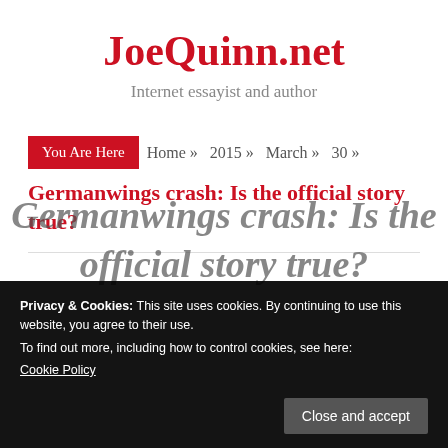JoeQuinn.net
Internet essayist and author
You Are Here  Home » 2015 » March » 30 »
Germanwings crash: Is the official story true?
Privacy & Cookies: This site uses cookies. By continuing to use this website, you agree to their use.
To find out more, including how to control cookies, see here:
Cookie Policy
Close and accept